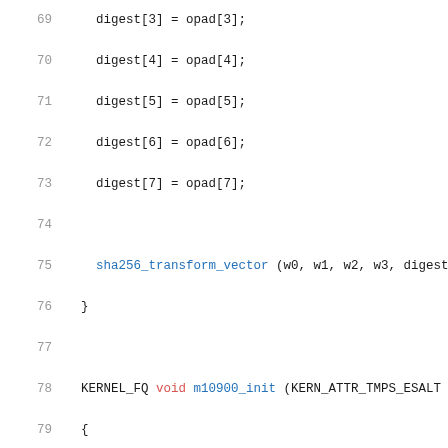Source code listing lines 69-90 showing C/OpenCL kernel code for hmac-sha256 initialization
[Figure (screenshot): Code editor view showing lines 69-90 of a C/OpenCL source file implementing sha256 hmac operations]